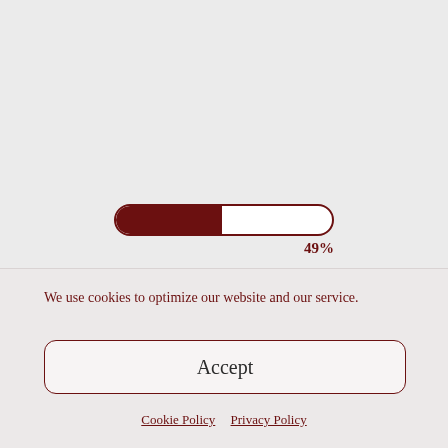[Figure (infographic): A horizontal progress bar showing 49% completion, with a dark red filled left portion and white unfilled right portion, enclosed in a dark red rounded rectangle border. Below the bar, '49%' is shown in dark red text aligned to the right.]
We use cookies to optimize our website and our service.
Accept
Cookie Policy   Privacy Policy